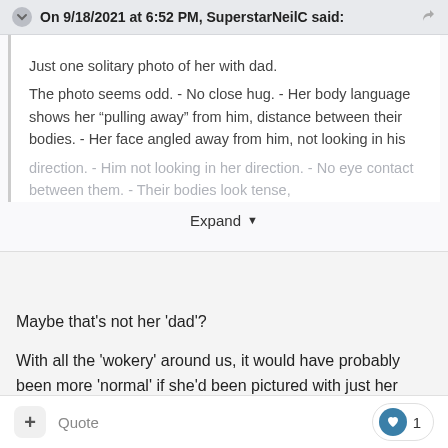On 9/18/2021 at 6:52 PM, SuperstarNeilC said:
Just one solitary photo of her with dad.
The photo seems odd. - No close hug. - Her body language shows her “pulling away” from him, distance between their bodies. - Her face angled away from him, not looking in his direction. - Him not looking in her direction. - No eye contact between them. - Their bodies look tense,
Expand
Maybe that's not her 'dad'?
With all the 'wokery' around us, it would have probably been more 'normal' if she'd been pictured with just her 'mum'. So, a picture of her with her father does seem a bit 'odd'.
+ Quote  1